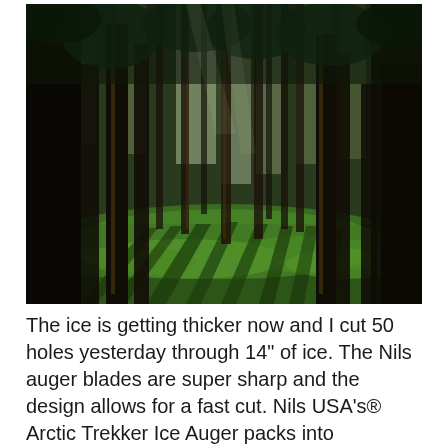[Figure (photo): A forest scene with tall pine trees viewed from below, sunlight streaming between the tree trunks casting long shadows on a green mossy ground. The image is high-contrast with dark tree silhouettes and bright green moss carpet.]
The ice is getting thicker now and I cut 50 holes yesterday through 14" of ice. The Nils auger blades are super sharp and the design allows for a fast cut. Nils USA's® Arctic Trekker Ice Auger packs into backpacks in a few segments making it truly